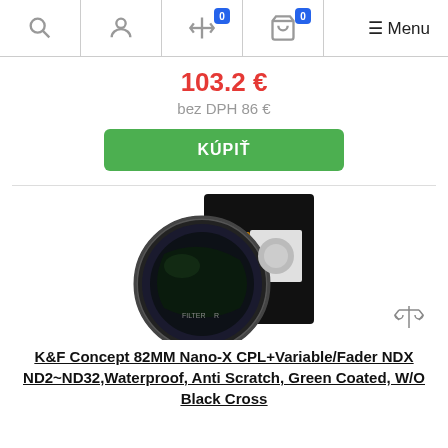Navigation bar with search, user, compare (0), cart (0) icons and Menu
103.2 €
bez DPH 86 €
KÚPIŤ
[Figure (photo): K&F Concept camera lens filter (circular, dark) in front of its black product box with orange K&F Concept branding label]
K&F Concept 82MM Nano-X CPL+Variable/Fader NDX ND2~ND32,Waterproof, Anti Scratch, Green Coated, W/O Black Cross